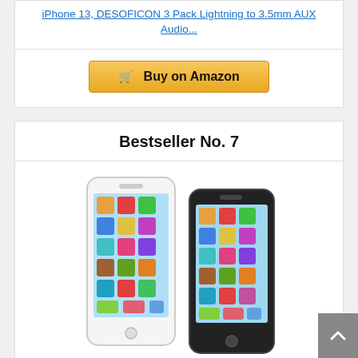iPhone 13, DESOFICON 3 Pack Lightning to 3.5mm AUX Audio...
[Figure (other): Buy on Amazon button with shopping cart icon]
Bestseller No. 7
[Figure (photo): Two toy smartphones side by side - one white and one black Cooplay Yphone toy]
Cooplay 2pcs Black and White Yphone Y-Phone Toy Play Music Cell Phone Mobile Phone Learning English...